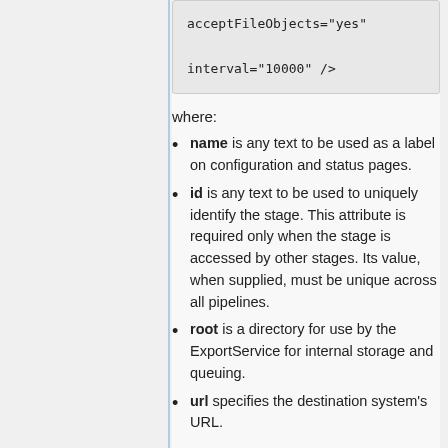[Figure (screenshot): Code block showing XML attributes: acceptFileObjects="yes" and interval="10000" />]
where:
name is any text to be used as a label on configuration and status pages.
id is any text to be used to uniquely identify the stage. This attribute is required only when the stage is accessed by other stages. Its value, when supplied, must be unique across all pipelines.
root is a directory for use by the ExportService for internal storage and queuing.
url specifies the destination system's URL.